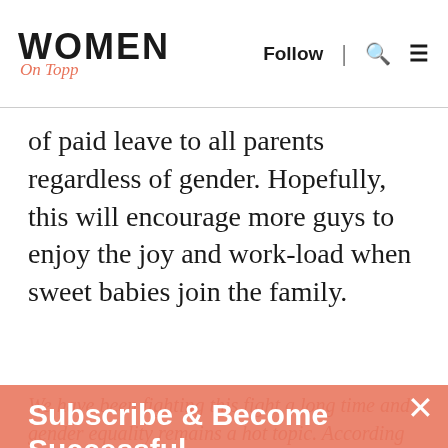WOMEN On Topp | Follow | Search | Menu
of paid leave to all parents regardless of gender. Hopefully, this will encourage more guys to enjoy the joy and work-load when sweet babies join the family.
We have been fighting this fight a long time and gender equality remains a hot topic. According to the late stud of labor Sadie... many men are happy with...
Subscribe & Become Successful
receive our newsletters and updates by email
Email
SUBSCRIBE
We use cookies to ensure that we give you the best experience on our website. If you continue to use this site we will assume that you are happy with it.
Ok
No
Privacy policy